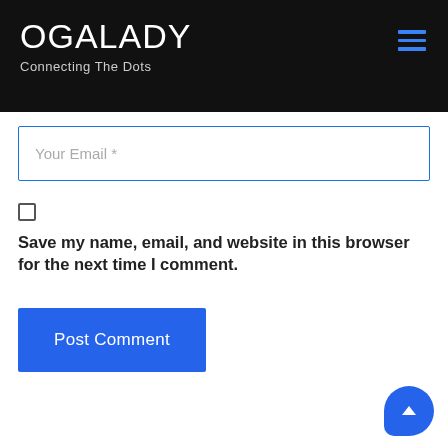OGALADY – Connecting The Dots
Your Email *
Save my name, email, and website in this browser for the next time I comment.
Post Comment